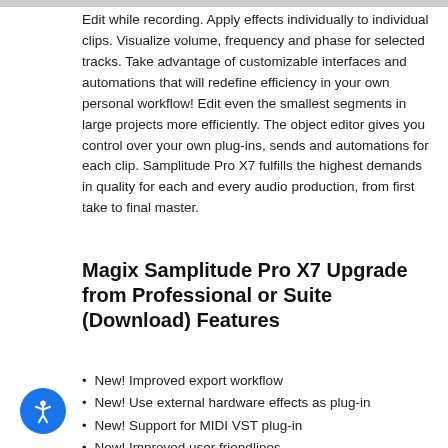Edit while recording. Apply effects individually to individual clips. Visualize volume, frequency and phase for selected tracks. Take advantage of customizable interfaces and automations that will redefine efficiency in your own personal workflow! Edit even the smallest segments in large projects more efficiently. The object editor gives you control over your own plug-ins, sends and automations for each clip. Samplitude Pro X7 fulfills the highest demands in quality for each and every audio production, from first take to final master.
Magix Samplitude Pro X7 Upgrade from Professional or Suite (Download) Features
New! Improved export workflow
New! Use external hardware effects as plug-in
New! Support for MIDI VST plug-in
New! Improved user friendlines
New! Precise crossfade editing
New! Improved design iZotope Ozone 9 Elements